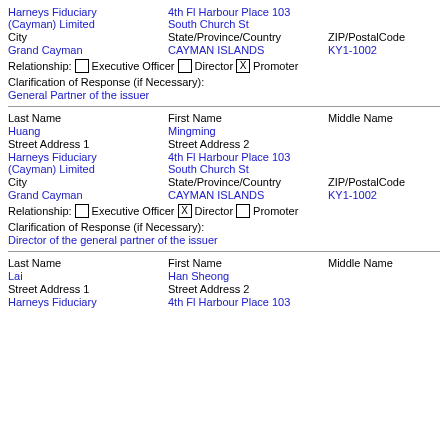Street Address 1: Harneys Fiduciary (Cayman) Limited | Street Address 2: 4th Fl Harbour Place 103 South Church St
City: Grand Cayman | State/Province/Country: CAYMAN ISLANDS | ZIP/PostalCode: KY1-1002
Relationship: [ ] Executive Officer [ ] Director [X] Promoter
Clarification of Response (if Necessary):
General Partner of the issuer
Last Name: Huang | First Name: Mingming | Middle Name:
Street Address 1: Harneys Fiduciary (Cayman) Limited | Street Address 2: 4th Fl Harbour Place 103 South Church St
City: Grand Cayman | State/Province/Country: CAYMAN ISLANDS | ZIP/PostalCode: KY1-1002
Relationship: [ ] Executive Officer [X] Director [ ] Promoter
Clarification of Response (if Necessary):
Director of the general partner of the issuer
Last Name: Lai | First Name: Han Sheong | Middle Name:
Street Address 1: Harneys Fiduciary | Street Address 2: 4th Fl Harbour Place 103